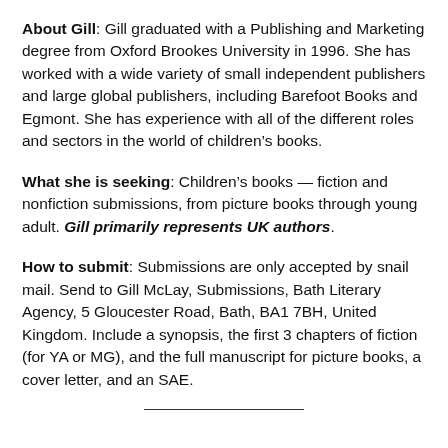About Gill: Gill graduated with a Publishing and Marketing degree from Oxford Brookes University in 1996. She has worked with a wide variety of small independent publishers and large global publishers, including Barefoot Books and Egmont. She has experience with all of the different roles and sectors in the world of children's books.
What she is seeking: Children's books — fiction and nonfiction submissions, from picture books through young adult. Gill primarily represents UK authors.
How to submit: Submissions are only accepted by snail mail. Send to Gill McLay, Submissions, Bath Literary Agency, 5 Gloucester Road, Bath, BA1 7BH, United Kingdom. Include a synopsis, the first 3 chapters of fiction (for YA or MG), and the full manuscript for picture books, a cover letter, and an SAE.